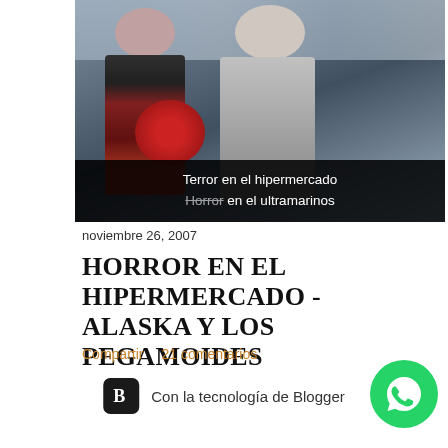[Figure (screenshot): Video thumbnail showing two people in what appears to be a supermarket/hypermarket setting. Overlaid text reads 'Terror en el hipermercado / Horror en el ultramarinos' on a dark bar at the bottom of the image.]
noviembre 26, 2007
HORROR EN EL HIPERMERCADO - ALASKA Y LOS PEGAMOIDES
Compartir    21 comentarios
[Figure (logo): Blogger icon (B logo on black rounded square) with text 'Con la tecnología de Blogger']
[Figure (logo): WhatsApp icon (green circle with phone handset)]